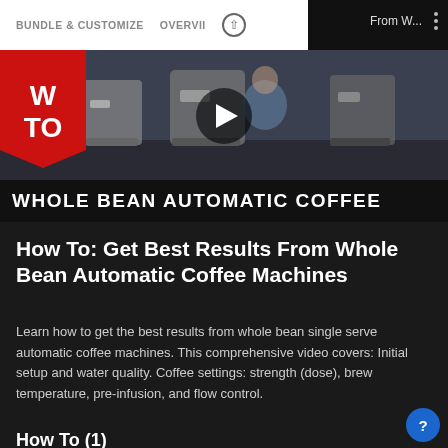BUNDLE & CUSTOMIZE   OVERVIEW
[Figure (screenshot): Video thumbnail showing whole bean automatic coffee machines with a man in a blue shirt, red ribbon banner with 'W TO' text, play button overlay, and bottom bar reading 'WHOLE BEAN AUTOMATIC COFFEE']
How To: Get Best Results From Whole Bean Automatic Coffee Machines
Learn how to get the best results from whole bean single serve automatic coffee machines. This comprehensive video covers: Initial setup and water quality. Coffee settings: strength (dose), brew temperature, pre-infusion, and flow control.
How To (1)